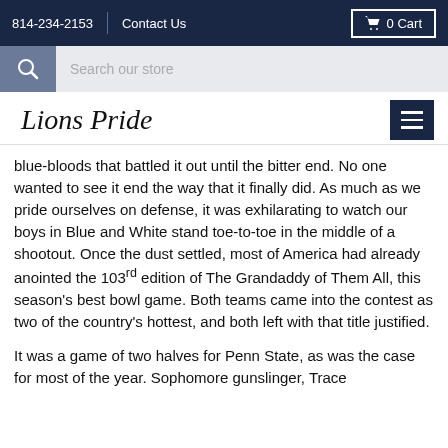814-234-2153  Contact Us  0 Cart
Search our store
Lions Pride
blue-bloods that battled it out until the bitter end. No one wanted to see it end the way that it finally did. As much as we pride ourselves on defense, it was exhilarating to watch our boys in Blue and White stand toe-to-toe in the middle of a shootout. Once the dust settled, most of America had already anointed the 103rd edition of The Grandaddy of Them All, this season's best bowl game. Both teams came into the contest as two of the country's hottest, and both left with that title justified.
It was a game of two halves for Penn State, as was the case for most of the year. Sophomore gunslinger, Trace